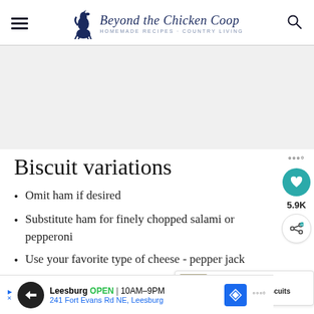Beyond the Chicken Coop — Homemade Recipes · Country Living
[Figure (other): Gray advertisement placeholder area]
Biscuit variations
Omit ham if desired
Substitute ham for finely chopped salami or pepperoni
Use your favorite type of cheese - pepper jack